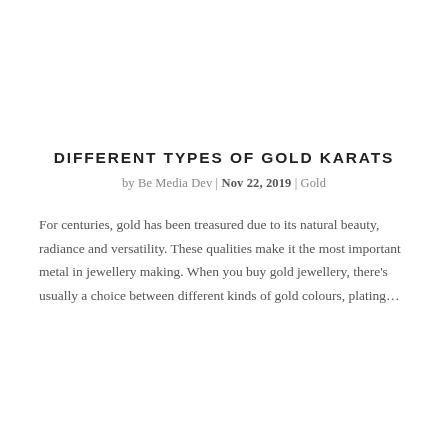DIFFERENT TYPES OF GOLD KARATS
by Be Media Dev | Nov 22, 2019 | Gold
For centuries, gold has been treasured due to its natural beauty, radiance and versatility. These qualities make it the most important metal in jewellery making. When you buy gold jewellery, there’s usually a choice between different kinds of gold colours, plating…